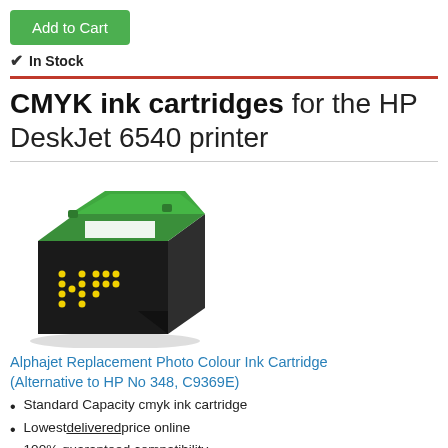Add to Cart
✓ In Stock
CMYK ink cartridges for the HP DeskJet 6540 printer
[Figure (photo): 3D illustration of a black CMYK ink cartridge with green top lid, white label area, and yellow HP logo on the front face.]
Alphajet Replacement Photo Colour Ink Cartridge (Alternative to HP No 348, C9369E)
Standard Capacity cmyk ink cartridge
Lowest delivered price online
100% guaranteed compatibility